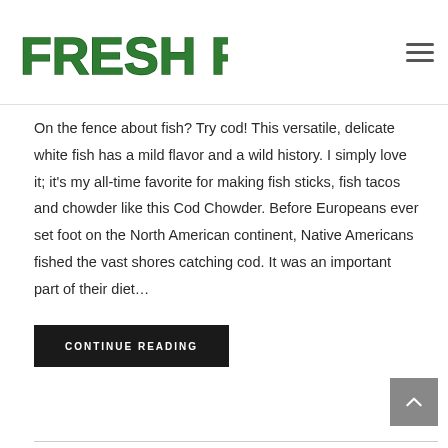FRESH FISH
On the fence about fish? Try cod! This versatile, delicate white fish has a mild flavor and a wild history. I simply love it; it's my all-time favorite for making fish sticks, fish tacos and chowder like this Cod Chowder. Before Europeans ever set foot on the North American continent, Native Americans fished the vast shores catching cod. It was an important part of their diet…
CONTINUE READING